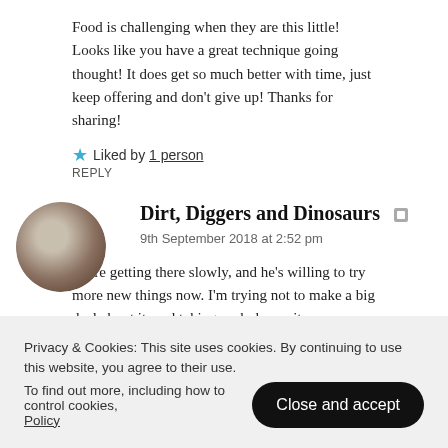Food is challenging when they are this little! Looks like you have a great technique going thought! It does get so much better with time, just keep offering and don't give up! Thanks for sharing!
Liked by 1 person
REPLY
Dirt, Diggers and Dinosaurs
9th September 2018 at 2:52 pm
We're getting there slowly, and he's willing to try more new things now. I'm trying not to make a big deal about it, and taking each day as it
Privacy & Cookies: This site uses cookies. By continuing to use this website, you agree to their use.
To find out more, including how to control cookies, see here: Cookie Policy